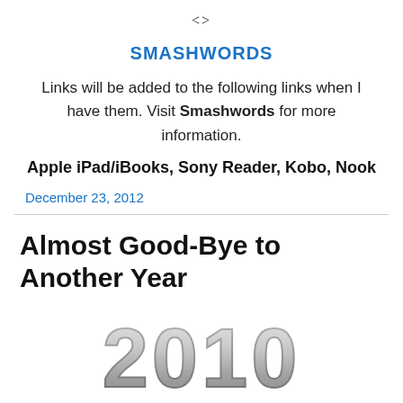<>
SMASHWORDS
Links will be added to the following links when I have them. Visit Smashwords for more information.
Apple iPad/iBooks, Sony Reader, Kobo, Nook
December 23, 2012
Almost Good-Bye to Another Year
[Figure (photo): Decorative 3D metallic '2010' numerals partially visible at bottom of page]